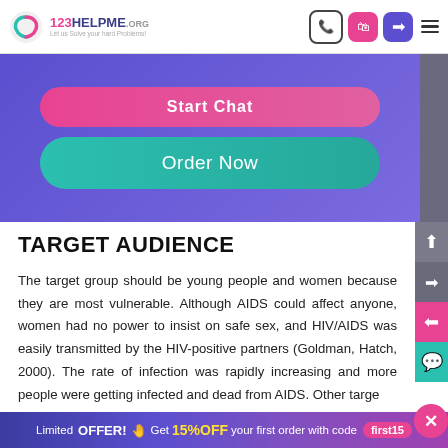[Figure (screenshot): 123HelpMe.org website header with logo, phone icon, shopping bag icon, login icon, and hamburger menu icon]
[Figure (screenshot): Purple/indigo website section with pink 'Start Chat' button and teal 'Order Now' button]
TARGET AUDIENCE
The target group should be young people and women because they are most vulnerable. Although AIDS could affect anyone, women had no power to insist on safe sex, and HIV/AIDS was easily transmitted by the HIV-positive partners (Goldman, Hatch, 2000). The rate of infection was rapidly increasing and more people were getting infected and dead from AIDS. Other targe
Limited OFFER! Get 15%OFF your first order with code first15